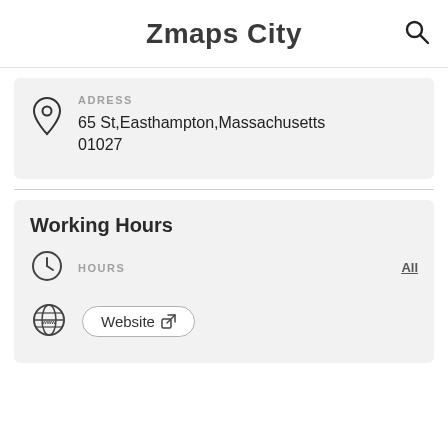Zmaps City
ADRESS
65 St,Easthampton,Massachusetts 01027
Working Hours
HOURS   All
Website